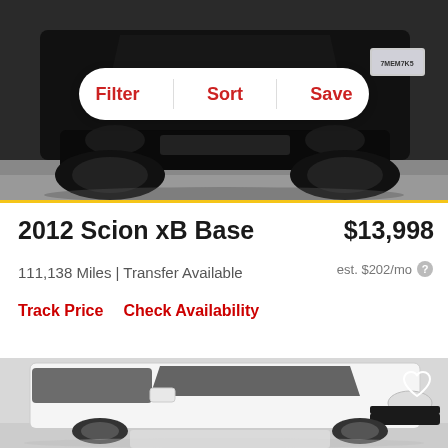[Figure (photo): Front view of a black Scion xB car against a light gray studio background, with a white toolbar overlay showing Filter, Sort, Save buttons]
2012 Scion xB Base
$13,998
111,138 Miles | Transfer Available
est. $202/mo
Track Price   Check Availability
[Figure (photo): Side view of a white Scion xB car against a light gray studio background, with a heart/save icon in the top right corner]